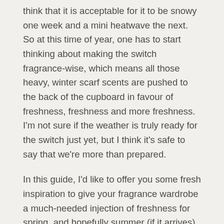think that it is acceptable for it to be snowy one week and a mini heatwave the next. So at this time of year, one has to start thinking about making the switch fragrance-wise, which means all those heavy, winter scarf scents are pushed to the back of the cupboard in favour of freshness, freshness and more freshness. I'm not sure if the weather is truly ready for the switch just yet, but I think it's safe to say that we're more than prepared.
In this guide, I'd like to offer you some fresh inspiration to give your fragrance wardrobe a much-needed injection of freshness for spring, and hopefully summer (if it arrives). I'm sticking with the classic fragrance families and have picked a fragrance for each that stays true to the genre but adds a surprising and beautiful fresh twist. So, if you're in need of a fresh new scent, or even an entirely fresh wardrobe of scent, we here at Escentual have got you covered. Now, all we need is the weather to play